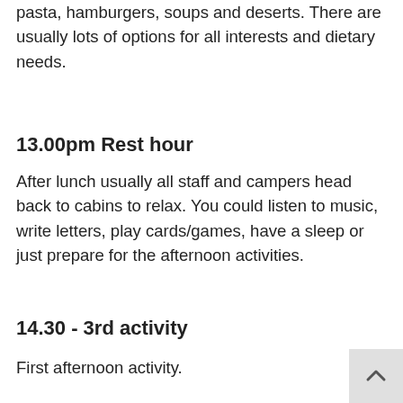pasta, hamburgers, soups and deserts. There are usually lots of options for all interests and dietary needs.
13.00pm Rest hour
After lunch usually all staff and campers head back to cabins to relax. You could listen to music, write letters, play cards/games, have a sleep or just prepare for the afternoon activities.
14.30 - 3rd activity
First afternoon activity.